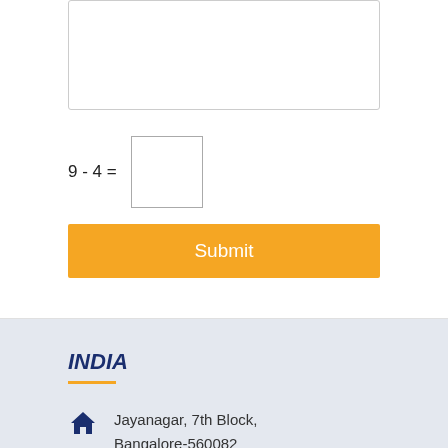[Figure (screenshot): A textarea input field for user message entry]
9 - 4 =
[Figure (screenshot): A CAPTCHA input field box]
Submit
INDIA
Jayanagar, 7th Block, Bangalore-560082